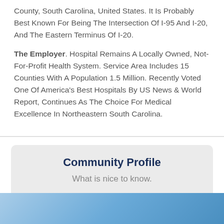County, South Carolina, United States. It Is Probably Best Known For Being The Intersection Of I-95 And I-20, And The Eastern Terminus Of I-20.
The Employer. Hospital Remains A Locally Owned, Not-For-Profit Health System. Service Area Includes 15 Counties With A Population 1.5 Million. Recently Voted One Of America's Best Hospitals By US News & World Report, Continues As The Choice For Medical Excellence In Northeastern South Carolina.
Community Profile
What is nice to know.
[Figure (photo): Partial photo strip at bottom of page, appears to be a blue-toned image, possibly medical or community related.]